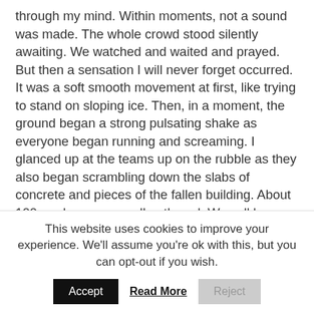through my mind. Within moments, not a sound was made. The whole crowd stood silently awaiting. We watched and waited and prayed. But then a sensation I will never forget occurred. It was a soft smooth movement at first, like trying to stand on sloping ice. Then, in a moment, the ground began a strong pulsating shake as everyone began running and screaming. I glanced up at the teams up on the rubble as they also began scrambling down the slabs of concrete and pieces of the fallen building. About 100 yards away, we all gathered. Was all hope gone? Would they go back and look, risking their lives after such a recent event? We waited. They didn't go back but neither did they leave. Finally we told the doctor
This website uses cookies to improve your experience. We'll assume you're ok with this, but you can opt-out if you wish.
Accept | Read More | Reject